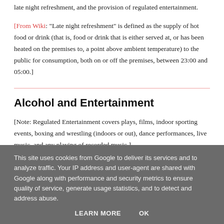late night refreshment, and the provision of regulated entertainment.
[From Wiki: "Late night refreshment" is defined as the supply of hot food or drink (that is, food or drink that is either served at, or has been heated on the premises to, a point above ambient temperature) to the public for consumption, both on or off the premises, between 23:00 and 05:00.]
Alcohol and Entertainment
[Note: Regulated Entertainment covers plays, films, indoor sporting events, boxing and wrestling (indoors or out), dance performances, live music, and any playing of recorded music.]
This site uses cookies from Google to deliver its services and to analyze traffic. Your IP address and user-agent are shared with Google along with performance and security metrics to ensure quality of service, generate usage statistics, and to detect and address abuse.
LEARN MORE   OK